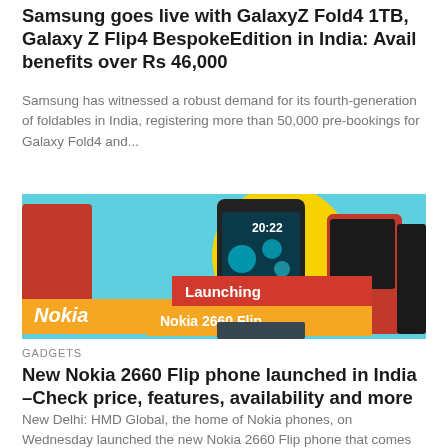Samsung goes live with GalaxyZ Fold4 1TB, Galaxy Z Flip4 BespokeEdition in India: Avail benefits over Rs 46,000
Samsung has witnessed a robust demand for its fourth-generation of foldables in India, registering more than 50,000 pre-bookings for Galaxy Fold4 and...
[Figure (photo): Nokia 2660 Flip phone launch promotional image showing multiple Nokia flip phones on a cyan/teal background with a yellow circle, orange Nokia logo banner on the left, and text 'Launching Nokia 2660 Flip' in an orange-red banner.]
GADGETS
New Nokia 2660 Flip phone launched in India –Check price, features, availability and more
New Delhi: HMD Global, the home of Nokia phones, on Wednesday launched the new Nokia 2660 Flip phone that comes with signature...